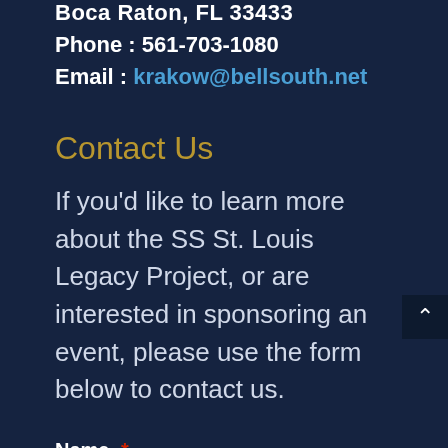Boca Raton, FL 33433
Phone : 561-703-1080
Email : krakow@bellsouth.net
Contact Us
If you'd like to learn more about the SS St. Louis Legacy Project, or are interested in sponsoring an event, please use the form below to contact us.
Name *